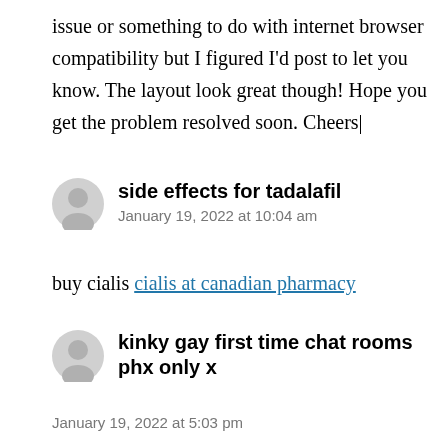issue or something to do with internet browser compatibility but I figured I'd post to let you know. The layout look great though! Hope you get the problem resolved soon. Cheers|
side effects for tadalafil
January 19, 2022 at 10:04 am
buy cialis cialis at canadian pharmacy
kinky gay first time chat rooms phx only x
January 19, 2022 at 5:03 pm